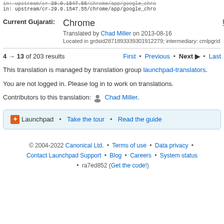in: upstream/cr-29.0.1547.55/chrome/app/google_chro...
Current Gujarati: Chrome
Translated by Chad Miller on 2013-08-16
Located in grdsid2871893339301912279; intermediary: cmlpgrid...
4 → 13 of 203 results   First • Previous • Next ▶ • Last
This translation is managed by translation group launchpad-translators.
You are not logged in. Please log in to work on translations.
Contributors to this translation: 👤 Chad Miller.
🔶 Launchpad • Take the tour • Read the guide
© 2004-2022 Canonical Ltd. • Terms of use • Data privacy • Contact Launchpad Support • Blog • Careers • System status • ra7ed852 (Get the code!)